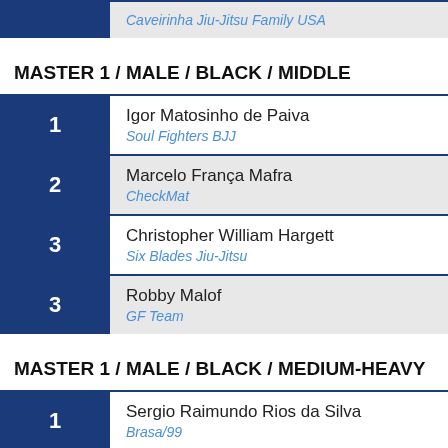Caveirinha Jiu-Jitsu Family USA
MASTER 1 / MALE / BLACK / MIDDLE
1 Igor Matosinho de Paiva - Soul Fighters BJJ
2 Marcelo França Mafra - CheckMat
3 Christopher William Hargett - Six Blades Jiu-Jitsu
3 Robby Malof - GF Team
MASTER 1 / MALE / BLACK / MEDIUM-HEAVY
1 Sergio Raimundo Rios da Silva - Brasa/99
2 Yuri Silva - Fight Sports